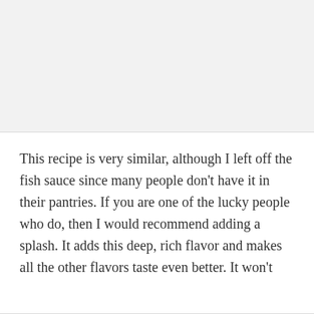[Figure (other): Blank light gray image placeholder area at top of page]
This recipe is very similar, although I left off the fish sauce since many people don't have it in their pantries. If you are one of the lucky people who do, then I would recommend adding a splash. It adds this deep, rich flavor and makes all the other flavors taste even better. It won't